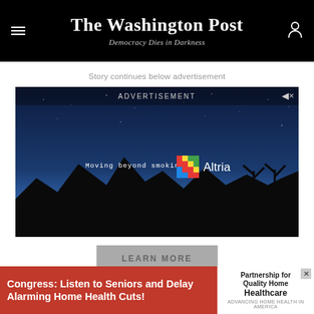The Washington Post — Democracy Dies in Darkness
Story continues below advertisement
[Figure (screenshot): Altria video advertisement showing a twilight/night sky desert landscape with stars. Text reads 'Moving beyond smoking™' alongside the Altria colorful pixel logo and wordmark. A mute icon is shown in the top right. ADVERTISEMENT label at top center.]
[Figure (screenshot): Gray 'LEARN MORE' call-to-action button below the advertisement video.]
[Figure (screenshot): Bottom banner advertisement: red background with bold white text 'Congress: Listen to Seniors and Delay Alarming Home Health Cuts!' with white box on right showing 'Partnership for Quality Home Healthcare' logo and close button.]